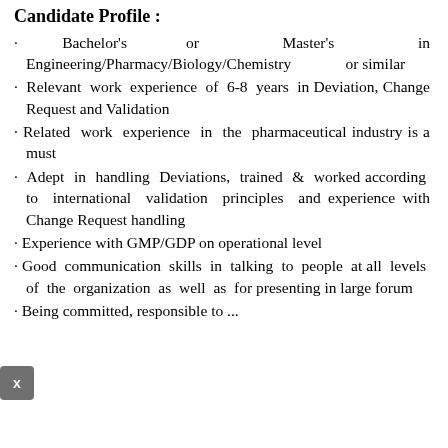Candidate Profile :
· Bachelor's or Master's in Engineering/Pharmacy/Biology/Chemistry or similar
· Relevant work experience of 6-8 years in Deviation, Change Request and Validation
· Related work experience in the pharmaceutical industry is a must
· Adept in handling Deviations, trained & worked according to international validation principles and experience with Change Request handling
· Experience with GMP/GDP on operational level
· Good communication skills in talking to people at all levels of the organization as well as for presenting in large forum
· Being committed, responsible to ...